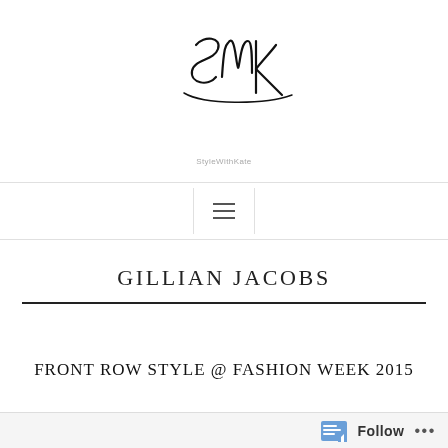[Figure (logo): Stylized handwritten signature logo 'SMK' with tagline 'StyleWithKate' underneath]
[Figure (other): Navigation hamburger menu icon (three horizontal lines) centered in bordered box]
GILLIAN JACOBS
FRONT ROW STYLE @ FASHION WEEK 2015
Follow ...